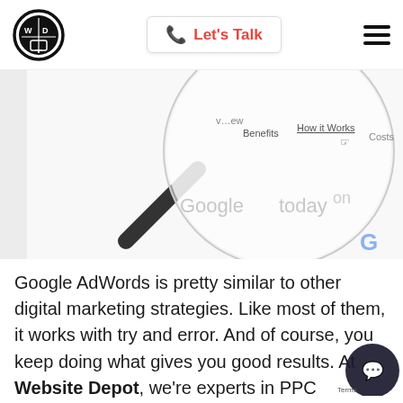[Figure (logo): Circular logo with WOD-style icon in black and white]
[Figure (other): Let's Talk button with phone icon in red]
[Figure (other): Hamburger menu icon with three horizontal bars]
[Figure (photo): Magnifying glass hovering over a website navigation bar showing Benefits, How it Works, Costs menu items. Below text reads 'Google today' with a Google logo partially visible.]
Google AdWords is pretty similar to other digital marketing strategies. Like most of them, it works with try and error. And of course, you keep doing what gives you good results. At Website Depot, we're experts in PPC campaigns. As
[Figure (other): Chat widget button (dark circular button with chat bubble icon)]